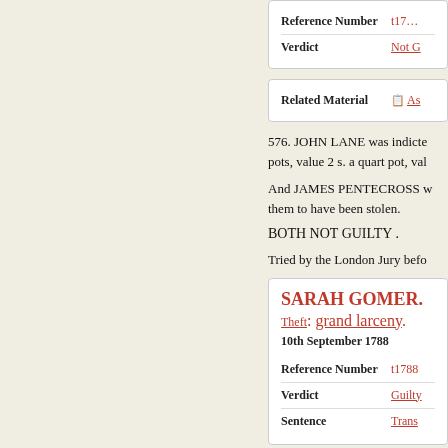| Field | Value |
| --- | --- |
| Reference Number | t17... |
| Verdict | Not G... |
| Field | Value |
| --- | --- |
| Related Material | As... |
576. JOHN LANE was indicted pots, value 2 s. a quart pot, val...
And JAMES PENTECROSS w... them to have been stolen.
BOTH NOT GUILTY .
Tried by the London Jury befo...
SARAH GOMER.
Theft: grand larceny.
10th September 1788
| Field | Value |
| --- | --- |
| Reference Number | t1788... |
| Verdict | Guilty... |
| Sentence | Trans... |